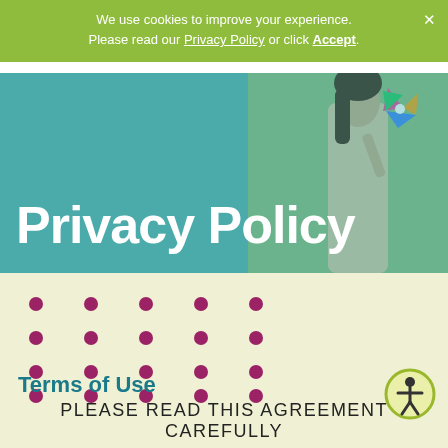We use cookies to improve your experience. Please read our Privacy Policy or click Accept.
Privacy Policy
[Figure (illustration): Decorative dot grid pattern in dark pink/maroon color, arranged in a 5x4 grid on a light yellow-green background]
Terms of Use
[Figure (other): Accessibility icon: person in circle with yellow-green border]
PLEASE READ THIS AGREEMENT CAREFULLY